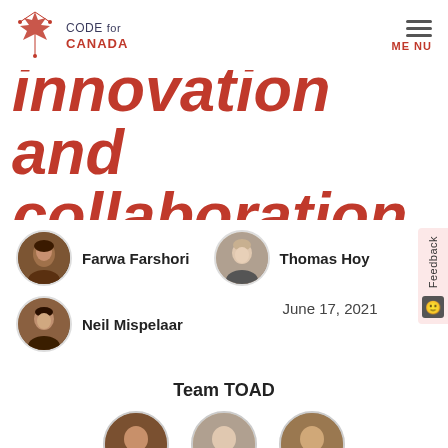CODE for CANADA — MENU (navigation bar)
innovation and collaboration
Farwa Farshori
Thomas Hoy
Neil Mispelaar
June 17, 2021
Team TOAD
[Figure (photo): Three circular portrait photos of team members at the bottom of the page]